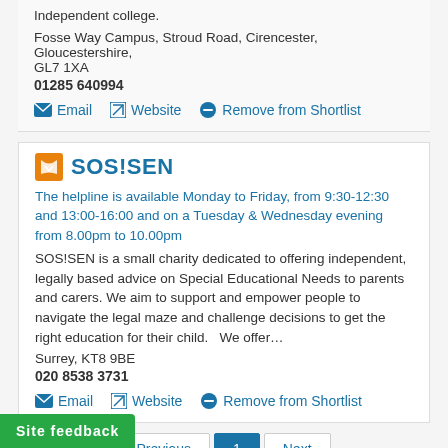Independent college.
Fosse Way Campus, Stroud Road, Cirencester, Gloucestershire, GL7 1XA
01285 640994
Email  Website  Remove from Shortlist
SOS!SEN
The helpline is available Monday to Friday, from 9:30-12:30 and 13:00-16:00 and on a Tuesday & Wednesday evening from 8.00pm to 10.00pm
SOS!SEN is a small charity dedicated to offering independent, legally based advice on Special Educational Needs to parents and carers. We aim to support and empower people to navigate the legal maze and challenge decisions to get the right education for their child.   We offer…
Surrey, KT8 9BE
020 8538 3731
Email  Website  Remove from Shortlist
Previous  1  Next
Site feedback